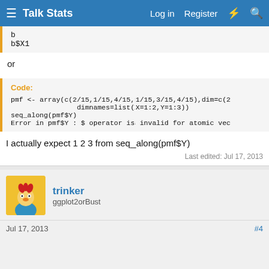Talk Stats — Log in  Register
b
b$X1
or
Code:
pmf <- array(c(2/15,1/15,4/15,1/15,3/15,4/15),dim=c(2...
                dimnames=list(X=1:2,Y=1:3))
seq_along(pmf$Y)
Error in pmf$Y : $ operator is invalid for atomic vec...
I actually expect 1 2 3 from seq_along(pmf$Y)
Last edited: Jul 17, 2013
trinker
ggplot2orBust
Jul 17, 2013   #4